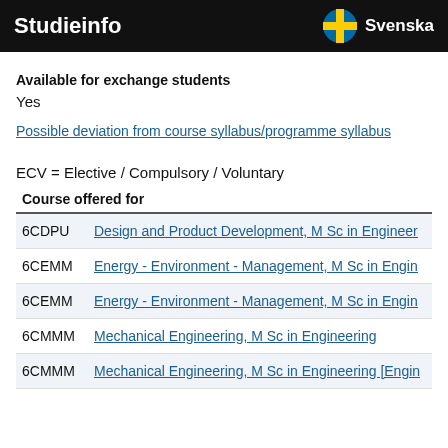Studieinfo | Svenska
Available for exchange students
Yes
Possible deviation from course syllabus/programme syllabus
ECV = Elective / Compulsory / Voluntary
|  | Course offered for |
| --- | --- |
| 6CDPU | Design and Product Development, M Sc in Engineer |
| 6CEMM | Energy - Environment - Management, M Sc in Engi |
| 6CEMM | Energy - Environment - Management, M Sc in Engi |
| 6CMMM | Mechanical Engineering, M Sc in Engineering |
| 6CMMM | Mechanical Engineering, M Sc in Engineering [Engi |